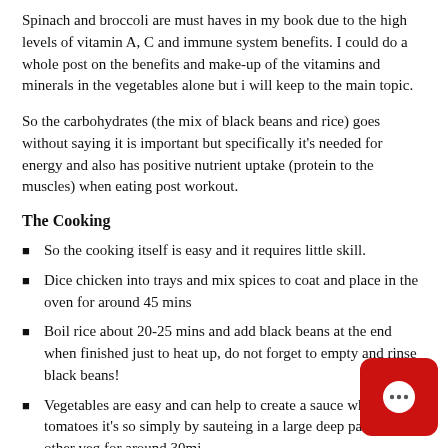Spinach and broccoli are must haves in my book due to the high levels of vitamin A, C and immune system benefits. I could do a whole post on the benefits and make-up of the vitamins and minerals in the vegetables alone but i will keep to the main topic.
So the carbohydrates (the mix of black beans and rice) goes without saying it is important but specifically it's needed for energy and also has positive nutrient uptake (protein to the muscles) when eating post workout.
The Cooking
So the cooking itself is easy and it requires little skill.
Dice chicken into trays and mix spices to coat and place in the oven for around 45 mins
Boil rice about 20-25 mins and add black beans at the end when finished just to heat up, do not forget to empty and rinse black beans!
Vegetables are easy and can help to create a sauce when using tomatoes it's so simply by sauteing in a large deep pan with the other veg for around 30mi…
Equipment needed, large pan for vegetables and t… two oven pans for the chicken. Also small saucepa… for the rice.